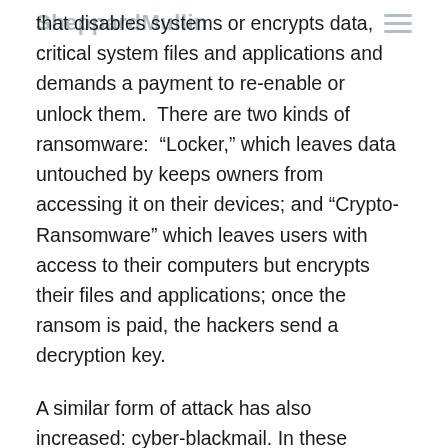SheppardMullin
that disables systems or encrypts data, critical system files and applications and demands a payment to re-enable or unlock them.  There are two kinds of ransomware:  "Locker," which leaves data untouched by keeps owners from accessing it on their devices; and "Crypto-Ransomware" which leaves users with access to their computers but encrypts their files and applications; once the ransom is paid, the hackers send a decryption key.
A similar form of attack has also increased: cyber-blackmail. In these cases, the attacker copies confidential email and files of the target then threatens to release them publically unless a ransom is paid.
How does ransomware get into a network?